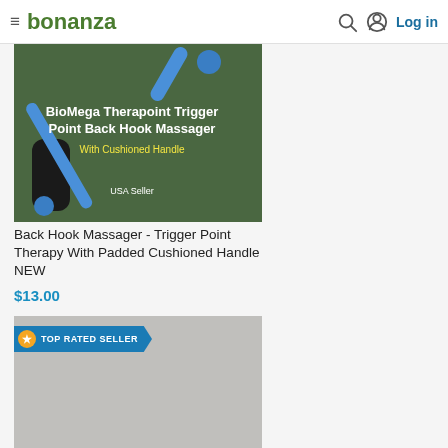bonanza | Log in
[Figure (photo): BioMega Therapoint Trigger Point Back Hook Massager with Cushioned Handle product image on green background, USA Seller]
Back Hook Massager - Trigger Point Therapy With Padded Cushioned Handle NEW
$13.00
[Figure (photo): Foot Massager product in black box packaging with TOP RATED SELLER banner]